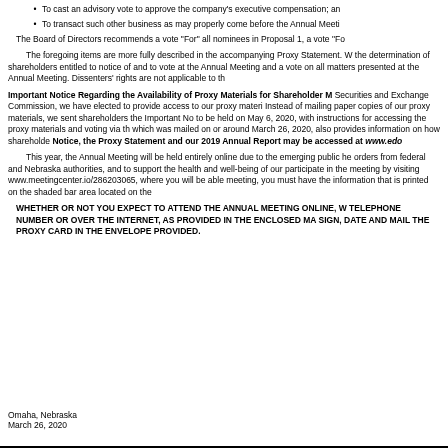To cast an advisory vote to approve the company's executive compensation; an
To transact such other business as may properly come before the Annual Meeti
The Board of Directors recommends a vote "For" all nominees in Proposal 1, a vote "Fo
The foregoing items are more fully described in the accompanying Proxy Statement. W the determination of shareholders entitled to notice of and to vote at the Annual Meeting and a vote on all matters presented at the Annual Meeting. Dissenters' rights are not applicable to th
Important Notice Regarding the Availability of Proxy Materials for Shareholder M Securities and Exchange Commission, we have elected to provide access to our proxy materi Instead of mailing paper copies of our proxy materials, we sent shareholders the Important No to be held on May 6, 2020, with instructions for accessing the proxy materials and voting via th which was mailed on or around March 26, 2020, also provides information on how shareholde Notice, the Proxy Statement and our 2019 Annual Report may be accessed at www.edo
This year, the Annual Meeting will be held entirely online due to the emerging public he orders from federal and Nebraska authorities, and to support the health and well-being of our participate in the meeting by visiting www.meetingcenter.io/286203065, where you will be able meeting, you must have the information that is printed on the shaded bar area located on the
WHETHER OR NOT YOU EXPECT TO ATTEND THE ANNUAL MEETING ONLINE, W TELEPHONE NUMBER OR OVER THE INTERNET, AS PROVIDED IN THE ENCLOSED MA SIGN, DATE AND MAIL THE PROXY CARD IN THE ENVELOPE PROVIDED.
Omaha, Nebraska
March 26, 2020